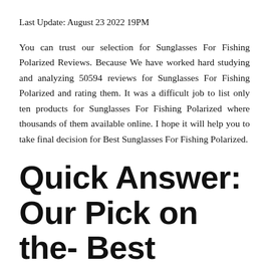Last Update: August 23 2022 19PM
You can trust our selection for Sunglasses For Fishing Polarized Reviews. Because We have worked hard studying and analyzing 50594 reviews for Sunglasses For Fishing Polarized and rating them. It was a difficult job to list only ten products for Sunglasses For Fishing Polarized where thousands of them available online. I hope it will help you to take final decision for Best Sunglasses For Fishing Polarized.
Quick Answer: Our Pick on the- Best Sunglasses For